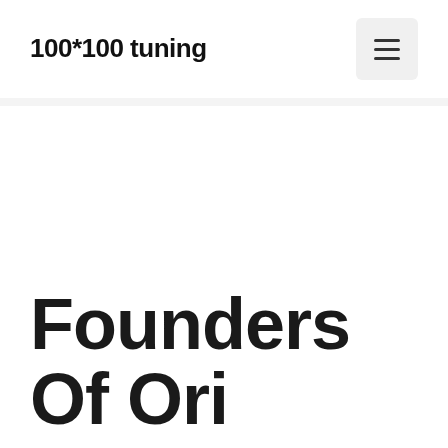100*100 tuning
Founders Of Ori